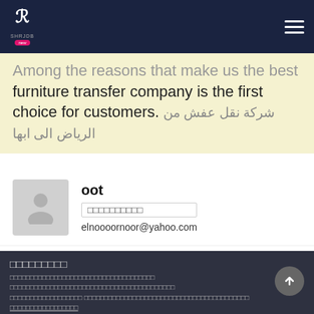SHRJDB logo and navigation menu
Among the reasons that make us the best furniture transfer company is the first choice for customers. شركة نقل عفش من الرياض الى ابها
oot
□□□□□□□□□□
elnoooornoor@yahoo.com
□□□□□□□□□
□□□□□□□□□□□□□□□□□□□□□□□□□□□□□□□□□□□□ □□□□□□□□□□□□□□□□□□□□□□□□□□□□□□□□□□□□□□□□□
□□□□□□□□□□□□□□□□□□ □□□□□□□□□□□□□□□□□□□□□□□□□□□□□□□□□□□□□□□□□ □□□□□□□□□□□□□□□□□
□□□□□□□ □□□ □□□□□□□□□□□□
□□□□□□□□□□□□□□  □□□□□□□□□□□□□□